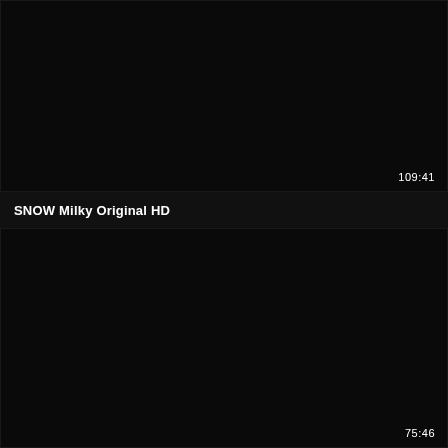[Figure (screenshot): Dark/black video thumbnail with duration timestamp 109:41 in bottom-right corner]
SNOW Milky Original HD
[Figure (screenshot): Dark/black video thumbnail with duration timestamp 75:46 in bottom-right corner]